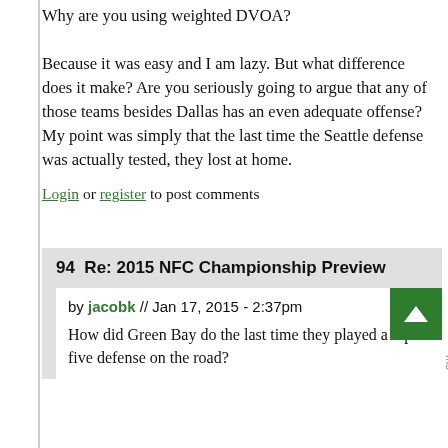Why are you using weighted DVOA?
Because it was easy and I am lazy. But what difference does it make? Are you seriously going to argue that any of those teams besides Dallas has an even adequate offense? My point was simply that the last time the Seattle defense was actually tested, they lost at home.
Login or register to post comments
94  Re: 2015 NFC Championship Preview
by jacobk // Jan 17, 2015 - 2:37pm
How did Green Bay do the last time they played a top five defense on the road?